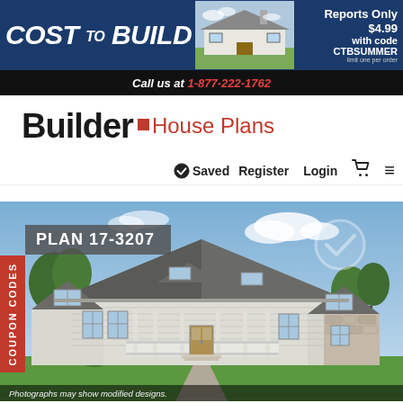[Figure (infographic): Cost to Build banner with blueprint background, house photo, and promotional text 'Reports Only $4.99 with code CTBSUMMER, limit one per order']
Call us at 1-877-222-1762
Builder House Plans
Saved  Register  Login
[Figure (photo): Exterior rendering of a large ranch-style house with multiple gable dormers, covered front porch, stone and siding exterior, landscaped lawn. Labeled PLAN 17-3207.]
Photographs may show modified designs.